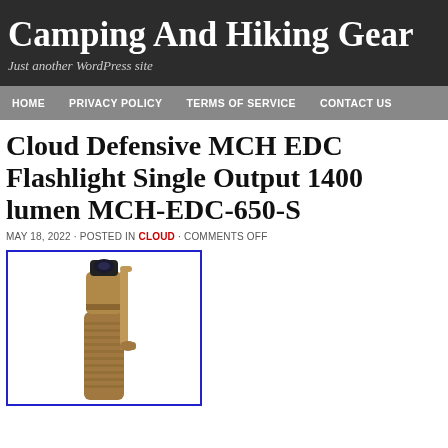Camping And Hiking Gear
Just another WordPress site
HOME  PRIVACY POLICY  TERMS OF SERVICE  CONTACT US
Cloud Defensive MCH EDC Flashlight Single Output 1400 lumen MCH-EDC-650-S
MAY 18, 2022 · POSTED IN CLOUD · COMMENTS OFF
[Figure (photo): Cloud Defensive MCH EDC flashlight in tan/coyote brown finish, shown upright with pocket clip attached, blue border around product image]